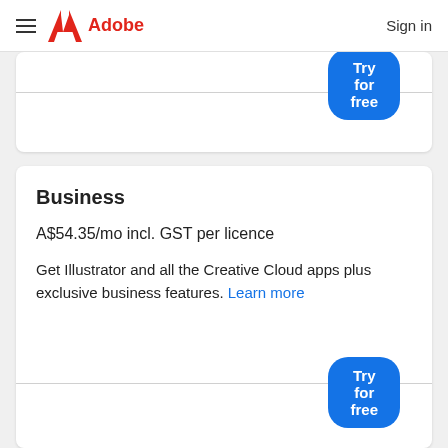Adobe — Sign in
Try for free
Business
A$54.35/mo incl. GST per licence
Get Illustrator and all the Creative Cloud apps plus exclusive business features. Learn more
Try for free